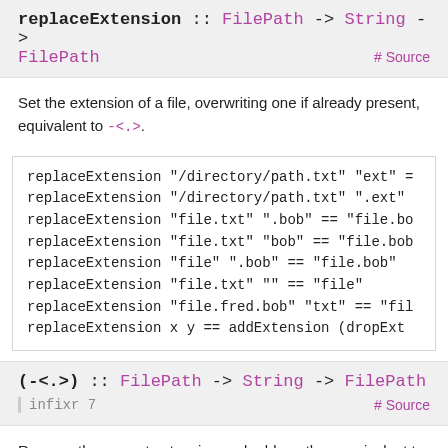replaceExtension :: FilePath -> String -> FilePath
# Source
Set the extension of a file, overwriting one if already present, equivalent to -<.>.
[Figure (screenshot): Code block showing replaceExtension examples]
(-<.>) :: FilePath -> String -> FilePath
infixr 7   # Source
Remove the current extension and add another, equivalent to replaceExtension.